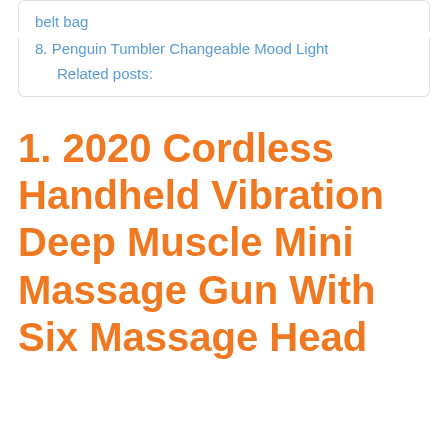belt bag
8. Penguin Tumbler Changeable Mood Light
Related posts:
1. 2020 Cordless Handheld Vibration Deep Muscle Mini Massage Gun With Six Massage Head